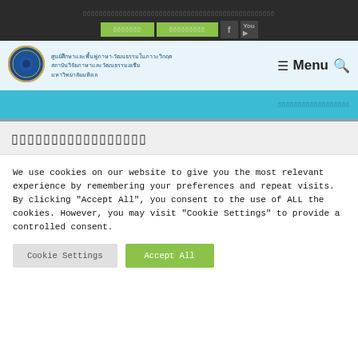[Thai navigation bar with green buttons and social icons]
[Figure (logo): Mahidol University Institute of Language and Culture for Rural Development logo - blue circular seal]
ศูนย์ศึกษาและพื้นฟูภาษา-วัฒนธรรมในภาวะวิกฤต
สถาบันวิจัยภาษาและวัฒนธรรมอเซีย
มหาวิทยาลัยมหิดล
Menu
[Thai section heading text]
We use cookies on our website to give you the most relevant experience by remembering your preferences and repeat visits. By clicking "Accept All", you consent to the use of ALL the cookies. However, you may visit "Cookie Settings" to provide a controlled consent.